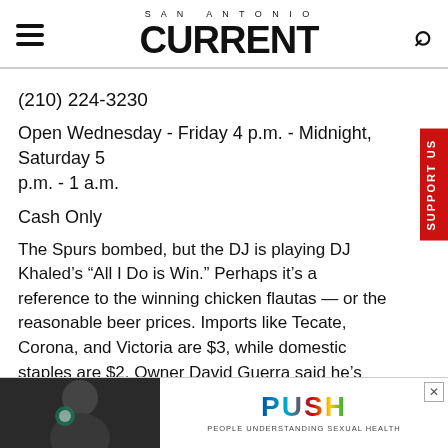SAN ANTONIO CURRENT
(210) 224-3230
Open Wednesday - Friday 4 p.m. - Midnight, Saturday 5 p.m. - 1 a.m.
Cash Only
The Spurs bombed, but the DJ is playing DJ Khaled’s “All I Do is Win.” Perhaps it’s a reference to the winning chicken flautas — or the reasonable beer prices. Imports like Tecate, Corona, and Victoria are $3, while domestic staples are $2. Owner David Guerra said he’s planning more DJ action for the Fiesta crowds.
[Figure (photo): Advertisement for PUSH (People Understanding Sexual Health) showing a woman and the PUSH logo with tagline 'People Understanding Sexual Health']